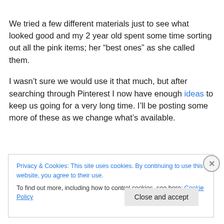We tried a few different materials just to see what looked good and my 2 year old spent some time sorting out all the pink items; her “best ones” as she called them.
I wasn’t sure we would use it that much, but after searching through Pinterest I now have enough ideas to keep us going for a very long time. I’ll be posting some more of these as we change what’s available.
Privacy & Cookies: This site uses cookies. By continuing to use this website, you agree to their use.
To find out more, including how to control cookies, see here: Cookie Policy